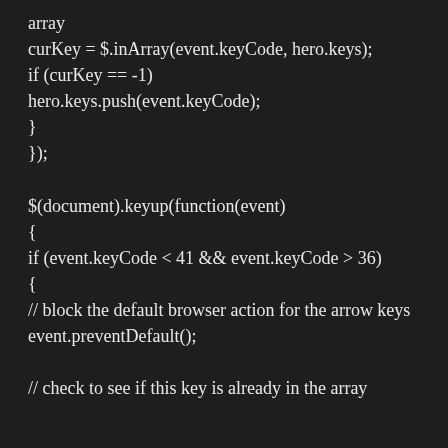array
curKey = $.inArray(event.keyCode, hero.keys);
if (curKey == -1)
hero.keys.push(event.keyCode);
}
});

$(document).keyup(function(event)
{
if (event.keyCode < 41 && event.keyCode > 36)
{
// block the default browser action for the arrow keys
event.preventDefault();

// check to see if this key is already in the array